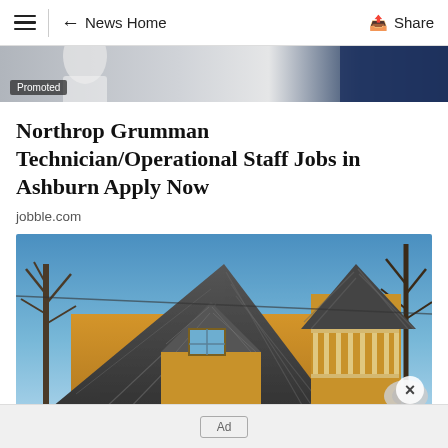≡  ← News Home    Share
[Figure (photo): Partial promotional image strip at top, showing a person in white and a dark background, with a 'Promoted' badge overlay.]
Northrop Grumman Technician/Operational Staff Jobs in Ashburn Apply Now
jobble.com
[Figure (photo): Exterior photograph of a yellow wooden house with steep dark-shingled roof gables, bare winter trees in the background, and a blue sky. A close/dismiss button (×) is visible at the bottom right.]
Ad